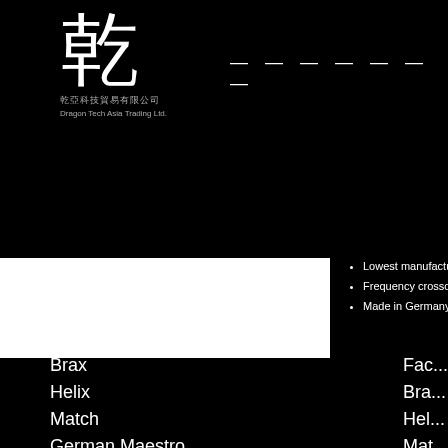[Figure (logo): Chinese character logo with calligraphic style white character on black background, with Chinese subtitle text and company name 'Dragon Tech Asia Trading Ltd.']
— — — — — — —
[Figure (photo): White rectangular image/product photo on the left side]
Lowest manufacturing toleranc...
Frequency crossover with twee...
Made in Germany
Brax
Helix
Match
German Maestro
Viablue
Fac...
Bra...
Hel...
Mat...
Ger...